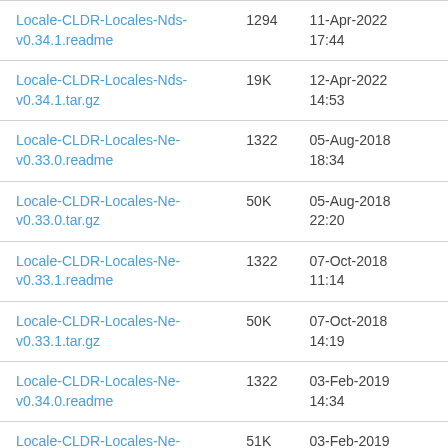| Name | Size | Date |
| --- | --- | --- |
| Locale-CLDR-Locales-Nds-v0.34.1.readme | 1294 | 11-Apr-2022 17:44 |
| Locale-CLDR-Locales-Nds-v0.34.1.tar.gz | 19K | 12-Apr-2022 14:53 |
| Locale-CLDR-Locales-Ne-v0.33.0.readme | 1322 | 05-Aug-2018 18:34 |
| Locale-CLDR-Locales-Ne-v0.33.0.tar.gz | 50K | 05-Aug-2018 22:20 |
| Locale-CLDR-Locales-Ne-v0.33.1.readme | 1322 | 07-Oct-2018 11:14 |
| Locale-CLDR-Locales-Ne-v0.33.1.tar.gz | 50K | 07-Oct-2018 14:19 |
| Locale-CLDR-Locales-Ne-v0.34.0.readme | 1322 | 03-Feb-2019 14:34 |
| Locale-CLDR-Locales-Ne-v0.34.0.tar.gz | 51K | 03-Feb-2019 19:14 |
| Locale-CLDR-Locales-Ne-v0.34.1.readme | 1294 | 11-Apr-2022 17:43 |